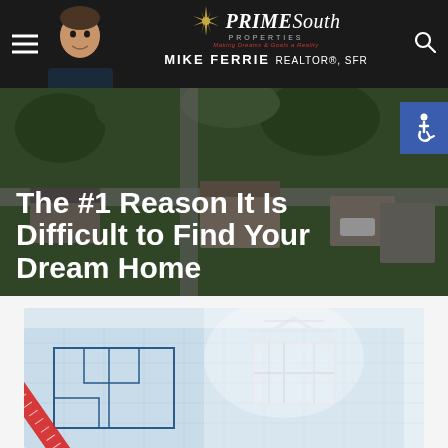PrimeSouth Properties – Mike Ferrie REALTOR®, SFR
The #1 Reason It Is Difficult to Find Your Dream Home
[Figure (photo): Architectural blueprint plans with a model house frame structure on top, ruler and pencil visible, bright white/blue color palette suggesting home design and real estate context]